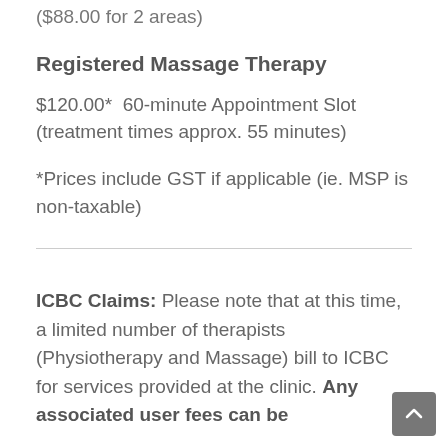($88.00 for 2 areas)
Registered Massage Therapy
$120.00*  60-minute Appointment Slot (treatment times approx. 55 minutes)
*Prices include GST if applicable (ie. MSP is non-taxable)
ICBC Claims: Please note that at this time, a limited number of therapists (Physiotherapy and Massage) bill to ICBC for services provided at the clinic. Any associated user fees can be